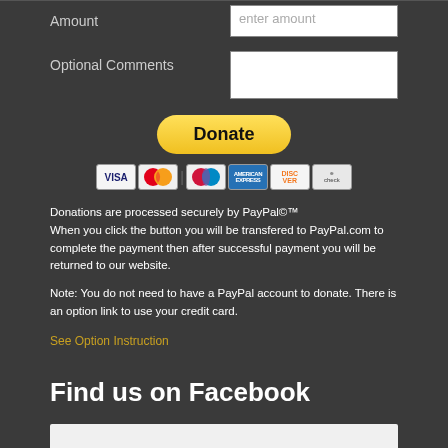Amount
Optional Comments
[Figure (other): Donate button (yellow rounded button) with PayPal payment method icons below (Visa, Mastercard, Maestro, American Express, Discover, eCheck)]
Donations are processed securely by PayPal©™
When you click the button you will be transfered to PayPal.com to complete the payment then after successful payment you will be returned to our website.
Note: You do not need to have a PayPal account to donate. There is an option link to use your credit card.
See Option Instruction
Find us on Facebook